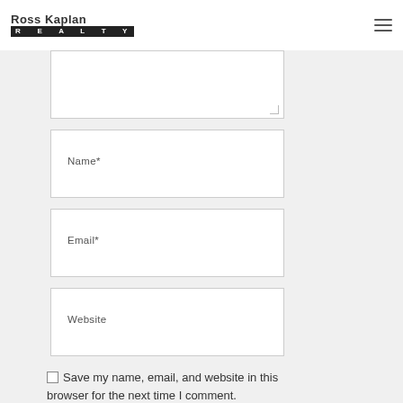Ross Kaplan REALTY
[Figure (screenshot): Web form with text area (partially visible at top), Name field, Email field, Website field, and a checkbox for saving name/email/website in browser]
Save my name, email, and website in this browser for the next time I comment.